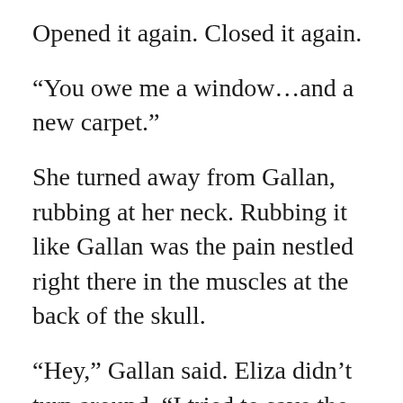Opened it again. Closed it again.
“You owe me a window…and a new carpet.”
She turned away from Gallan, rubbing at her neck. Rubbing it like Gallan was the pain nestled right there in the muscles at the back of the skull.
“Hey,” Gallan said. Eliza didn’t turn around. “I tried to save the carpet.”